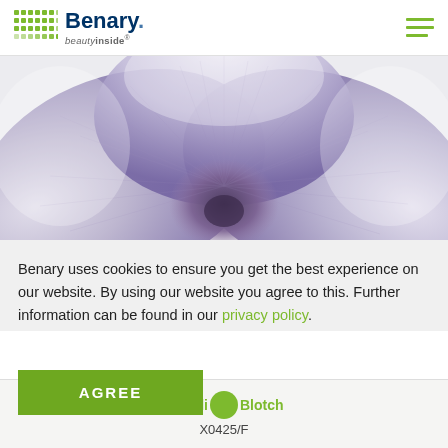Benary beautyinside
[Figure (photo): Close-up macro photo of a white and purple pansy flower, showing detailed petal veins with purple center fading to white edges]
Benary uses cookies to ensure you get the best experience on our website. By using our website you agree to this. Further information can be found in our privacy policy.
AGREE
Metallic Blotch
X0425/F